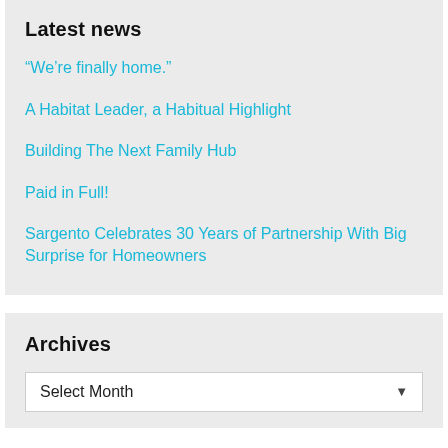Latest news
“We’re finally home.”
A Habitat Leader, a Habitual Highlight
Building The Next Family Hub
Paid in Full!
Sargento Celebrates 30 Years of Partnership With Big Surprise for Homeowners
Archives
Select Month